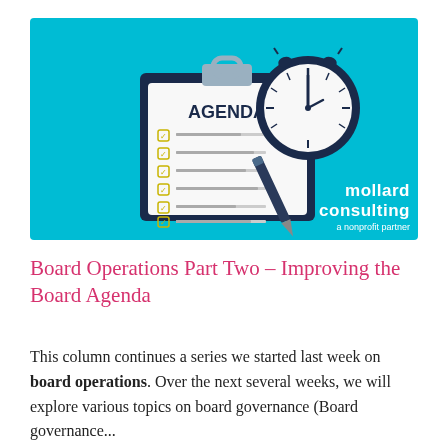[Figure (illustration): Teal/cyan background illustration showing a clipboard with 'AGENDA' text and checklist items, a stopwatch/alarm clock, and a pen. Bottom right has 'mollard consulting a nonprofit partner' logo in white text.]
Board Operations Part Two – Improving the Board Agenda
This column continues a series we started last week on board operations. Over the next several weeks, we will explore various topics on board governance (Board governance...